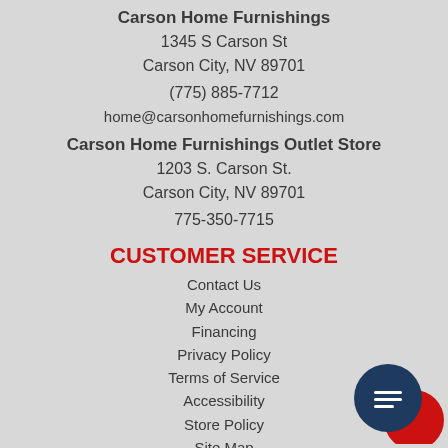Carson Home Furnishings
1345 S Carson St
Carson City, NV 89701
(775) 885-7712
home@carsonhomefurnishings.com
Carson Home Furnishings Outlet Store
1203 S. Carson St.
Carson City, NV 89701
775-350-7715
CUSTOMER SERVICE
Contact Us
My Account
Financing
Privacy Policy
Terms of Service
Accessibility
Store Policy
Site Map
Do Not Sell My Personal Information